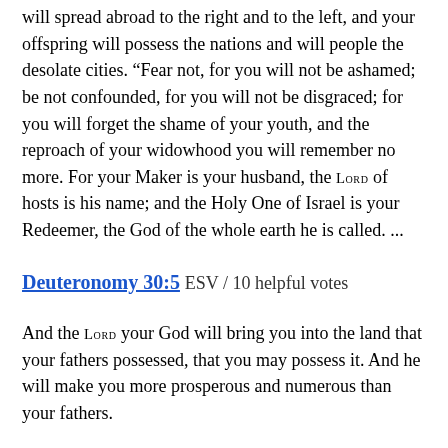will spread abroad to the right and to the left, and your offspring will possess the nations and will people the desolate cities. “Fear not, for you will not be ashamed; be not confounded, for you will not be disgraced; for you will forget the shame of your youth, and the reproach of your widowhood you will remember no more. For your Maker is your husband, the LORD of hosts is his name; and the Holy One of Israel is your Redeemer, the God of the whole earth he is called. ...
Deuteronomy 30:5 ESV / 10 helpful votes
And the LORD your God will bring you into the land that your fathers possessed, that you may possess it. And he will make you more prosperous and numerous than your fathers.
Philippians 3:13-14 ESV / 9 helpful votes
Brothers, I do not consider that I have made it my own. But one thing I do: forgetting what lies behind and straining forward to what lies ahead, I press on toward the goal for the prize of the upward call of God in Christ